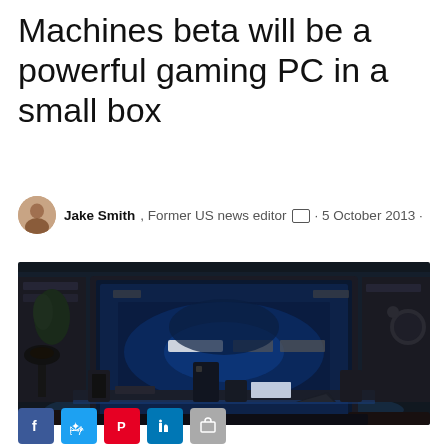Machines beta will be a powerful gaming PC in a small box
Jake Smith, Former US news editor · 5 October 2013 ·
News
[Figure (photo): Darkened living room scene with a large TV displaying a blue-lit game interface and multiple gaming PC units on a shelf below, evoking a Steam Machine reveal promo image.]
Social share buttons: Facebook, Twitter, Pinterest, LinkedIn, and one more (gray)